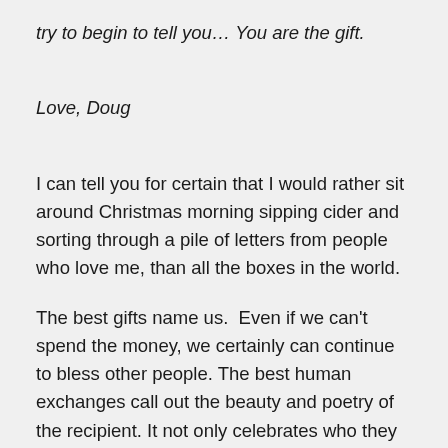try to begin to tell you… You are the gift.
Love, Doug
I can tell you for certain that I would rather sit around Christmas morning sipping cider and sorting through a pile of letters from people who love me, than all the boxes in the world.
The best gifts name us.  Even if we can't spend the money, we certainly can continue to bless other people. The best human exchanges call out the beauty and poetry of the recipient. It not only celebrates who they are but believes in their future. We could also buy the paints and brushes if we can.   To some degree we should, because